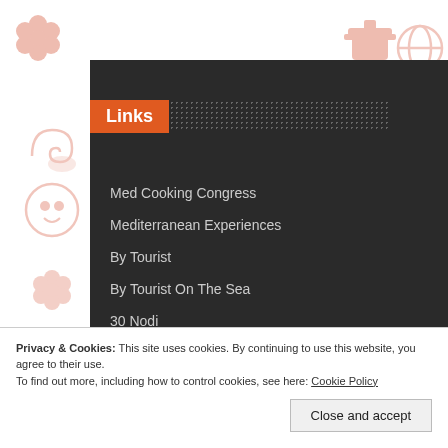[Figure (illustration): Food-themed decorative icons (flowers, pots, globes, snails, bottles) in light salmon/pink color on white background]
Links
Med Cooking Congress
Mediterranean Experiences
By Tourist
By Tourist On The Sea
30 Nodi
Educational Sport
Privacy & Cookies: This site uses cookies. By continuing to use this website, you agree to their use.
To find out more, including how to control cookies, see here: Cookie Policy
Close and accept